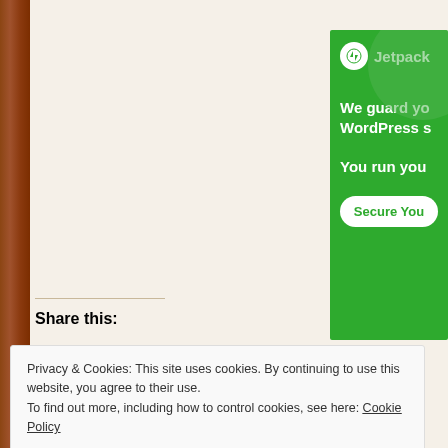Advertisements
[Figure (other): Jetpack WordPress security advertisement — green background with Jetpack logo, text 'We guard yo... WordPress s... You run you...' and a 'Secure You' button]
Share this:
Privacy & Cookies: This site uses cookies. By continuing to use this website, you agree to their use.
To find out more, including how to control cookies, see here: Cookie Policy
Close and accept